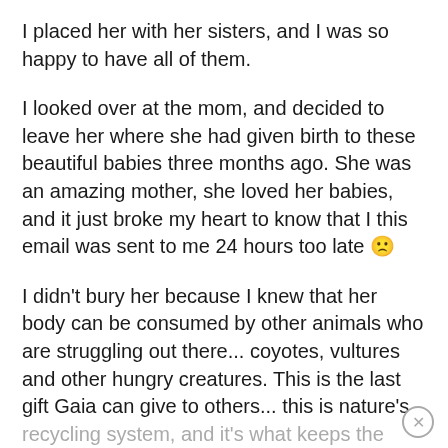I placed her with her sisters, and I was so happy to have all of them.
I looked over at the mom, and decided to leave her where she had given birth to these beautiful babies three months ago. She was an amazing mother, she loved her babies, and it just broke my heart to know that I this email was sent to me 24 hours too late 🙁
I didn't bury her because I knew that her body can be consumed by other animals who are struggling out there... coyotes, vultures and other hungry creatures. This is the last gift Gaia can give to others... this is nature's recycling system, and it's what keeps the cycle of life going.